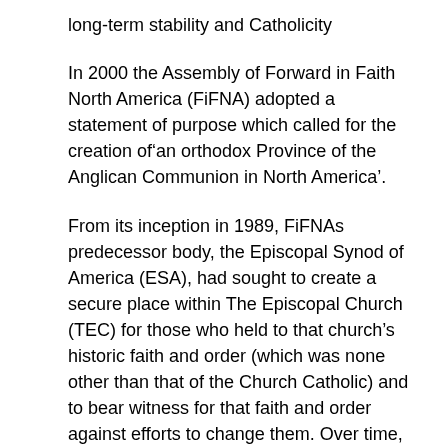long-term stability and Catholicity
In 2000 the Assembly of Forward in Faith North America (FiFNA) adopted a statement of purpose which called for the creation of‘an orthodox Province of the Anglican Communion in North America’.
From its inception in 1989, FiFNAs predecessor body, the Episcopal Synod of America (ESA), had sought to create a secure place within The Episcopal Church (TEC) for those who held to that church’s historic faith and order (which was none other than that of the Church Catholic) and to bear witness for that faith and order against efforts to change them. Over time, ESA recognized that nothing less than a structural solution was necessary, and therefore sought the creation of a tenth province within The Episcopal Church, as a non-geographic entity.
ESA proposals for such an internal province never made it out of committee onto the floor of TEC’s General